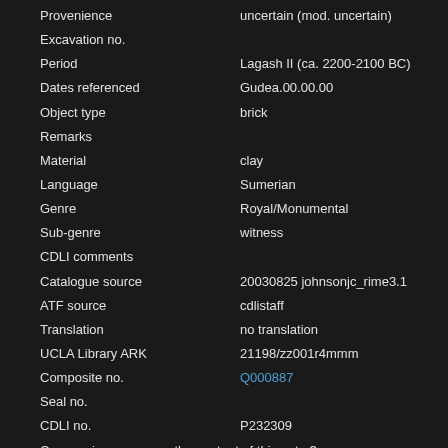| Field | Value |
| --- | --- |
| Provenience | uncertain (mod. uncertain) |
| Excavation no. |  |
| Period | Lagash II (ca. 2200-2100 BC) |
| Dates referenced | Gudea.00.00.00 |
| Object type | brick |
| Remarks |  |
| Material | clay |
| Language | Sumerian |
| Genre | Royal/Monumental |
| Sub-genre | witness |
| CDLI comments |  |
| Catalogue source | 20030825 johnsonjc_rime3.1 |
| ATF source | cdlistaff |
| Translation | no translation |
| UCLA Library ARK | 21198/zz001r4mmm |
| Composite no. | Q000887 |
| Seal no. |  |
| CDLI no. | P232309 |
Can you improve upon the content of this entry?
Please contact us!
RIME 3/1.01.07.002, ex. 01
Click for archival page
| Field | Value |
| --- | --- |
| Primary publication | RIME 3/1.01.07.002, ex. 01 |
| Author(s) | Edzard, Dietz Otto |